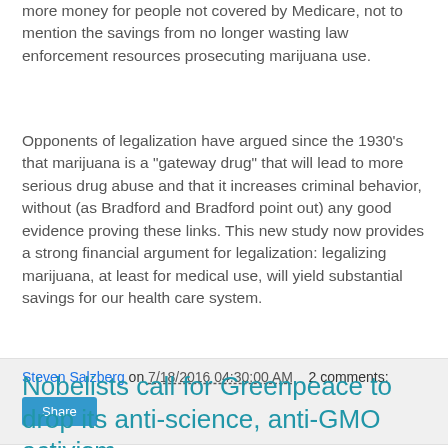more money for people not covered by Medicare, not to mention the savings from no longer wasting law enforcement resources prosecuting marijuana use.
Opponents of legalization have argued since the 1930's that marijuana is a "gateway drug" that will lead to more serious drug abuse and that it increases criminal behavior, without (as Bradford and Bradford point out) any good evidence proving these links. This new study now provides a strong financial argument for legalization: legalizing marijuana, at least for medical use, will yield substantial savings for our health care system.
Steven Salzberg on 7/18/2016 04:30:00 AM   2 comments:
Share
Nobelists call for Greenpeace to drop its anti-science, anti-GMO activism